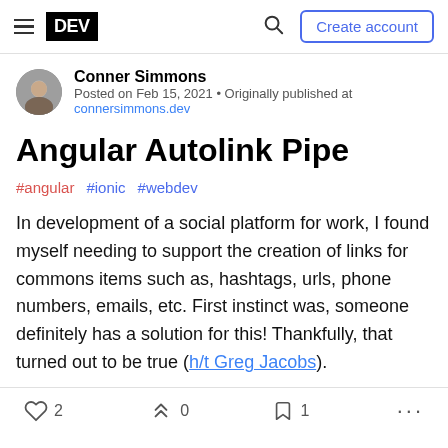DEV — Create account
Conner Simmons
Posted on Feb 15, 2021 • Originally published at connersimmons.dev
Angular Autolink Pipe
#angular #ionic #webdev
In development of a social platform for work, I found myself needing to support the creation of links for commons items such as, hashtags, urls, phone numbers, emails, etc. First instinct was, someone definitely has a solution for this! Thankfully, that turned out to be true (h/t Greg Jacobs).
2  0  1  ...